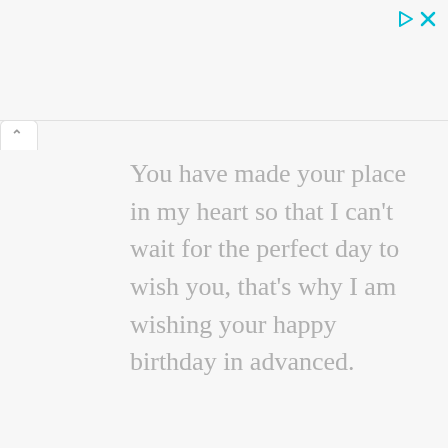[Figure (other): Ad icon area with play and close (X) buttons in teal/cyan color in top-right corner]
You have made your place in my heart so that I can't wait for the perfect day to wish you, that's why I am wishing your happy birthday in advanced.